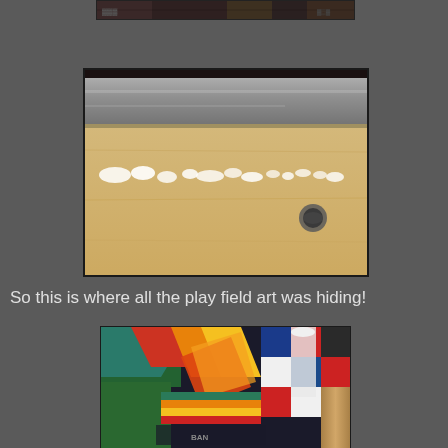[Figure (photo): Partial top edge of a pinball playfield or wooden surface, cropped at top of page, dark background]
[Figure (photo): Close-up macro photograph of the edge of a pinball playfield showing white paint chips/flaking along the edge, revealing the wood underneath, with a screw visible, yellow cabinet visible in background]
So this is where all the play field art was hiding!
[Figure (photo): Colorful pinball playfield artwork laid out on a surface showing vibrant retro graphics with green, red, yellow, blue geometric shapes and human figures]